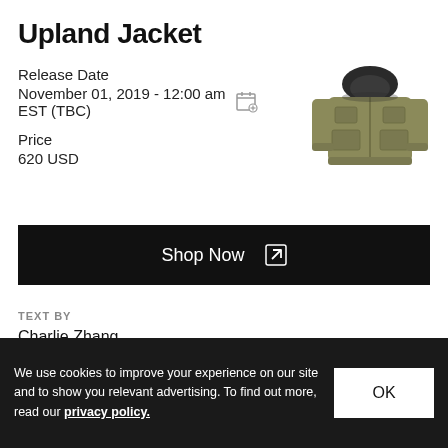Upland Jacket
Release Date
November 01, 2019 - 12:00 am EST (TBC)
Price
620 USD
[Figure (photo): Olive/khaki hooded jacket product photo]
Shop Now
TEXT BY
Charlie Zhang
We use cookies to improve your experience on our site and to show you relevant advertising. To find out more, read our privacy policy.
OK